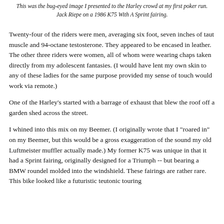This was the bug-eyed image I presented to the Harley crowd at my first poker run.
Jack Riepe on a 1986 K75 With A Sprint fairing.
Twenty-four of the riders were men, averaging six foot, seven inches of taut muscle and 94-octane testosterone. They appeared to be encased in leather. The other three riders were women, all of whom were wearing chaps taken directly from my adolescent fantasies. (I would have lent my own skin to any of these ladies for the same purpose provided my sense of touch would work via remote.)
One of the Harley's started with a barrage of exhaust that blew the roof off a garden shed across the street.
I whined into this mix on my Beemer. (I originally wrote that I "roared in" on my Beemer, but this would be a gross exaggeration of the sound my old Luftmeister muffler actually made.) My former K75 was unique in that it had a Sprint fairing, originally designed for a Triumph -- but bearing a BMW roundel molded into the windshield. These fairings are rather rare. This bike looked like a futuristic teutonic touring